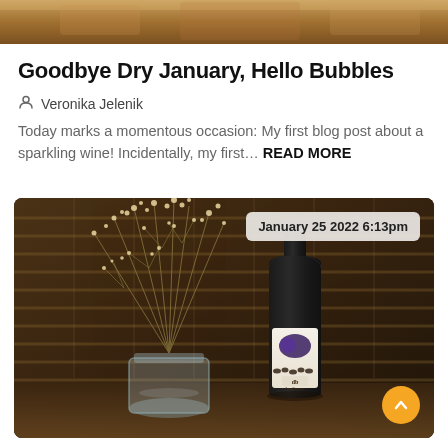[Figure (photo): Top strip photo: warm amber/brown toned image at the very top of the page]
Goodbye Dry January, Hello Bubbles
Veronika Jelenik
Today marks a momentous occasion: My first blog post about a sparkling wine! Incidentally, my first... READ MORE
[Figure (photo): Photo of a wine bottle next to a mason jar with dried baby's breath flowers against a warm sepia-toned background with window blinds. A date badge reads 'January 25 2022 6:13pm'. An orange scroll-up button appears in the bottom right.]